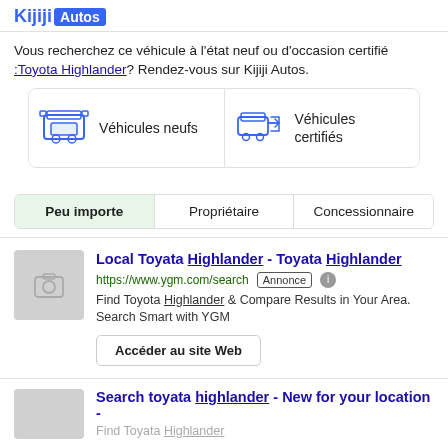Kijiji Autos
Vous recherchez ce véhicule à l'état neuf ou d'occasion certifié :Toyota Highlander? Rendez-vous sur Kijiji Autos.
[Figure (infographic): Two cards side by side: 'Véhicules neufs' with dealer/car icon on left, 'Véhicules certifiés' with car exchange icon on right]
Peu importe
Propriétaire
Concessionnaire
Local Toyata Highlander - Toyata Highlander
https://www.ygm.com/search  Annonce
Find Toyota Highlander & Compare Results in Your Area. Search Smart with YGM
Accéder au site Web
Search toyata highlander - New for your location -
Find Toyata Highlander